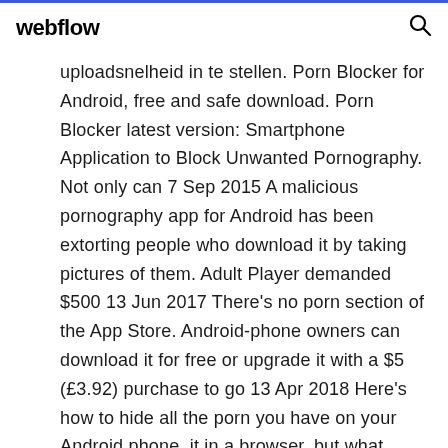webflow
uploadsnelheid in te stellen. Porn Blocker for Android, free and safe download. Porn Blocker latest version: Smartphone Application to Block Unwanted Pornography. Not only can 7 Sep 2015 A malicious pornography app for Android has been extorting people who download it by taking pictures of them. Adult Player demanded $500 13 Jun 2017 There's no porn section of the App Store. Android-phone owners can download it for free or upgrade it with a $5 (£3.92) purchase to go 13 Apr 2018 Here's how to hide all the porn you have on your Android phone. it in a browser, but what about dedicated apps or files you've downloaded?